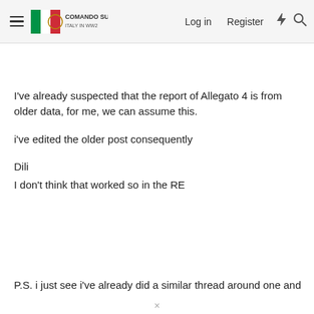Comando Supremo: Italy in WW2 — Log in | Register
I've already suspected that the report of Allegato 4 is from older data, for me, we can assume this.
i've edited the older post consequently
Dili
I don't think that worked so in the RE
P.S. i just see i've already did a similar thread around one and